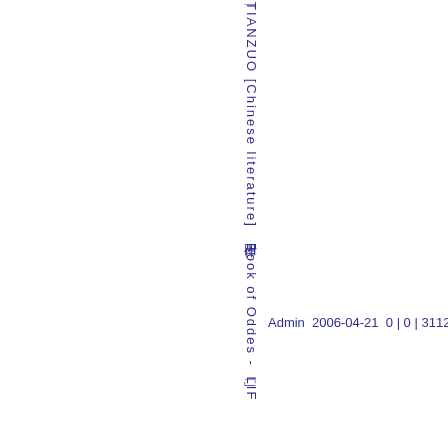「TIANZUO [Chinese literature] 田作 Book of Oddes - 」「LIF
Admin  2006-04-21  0 | 0 | 3112